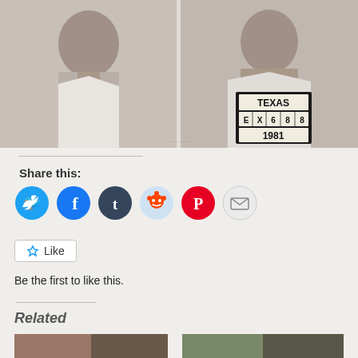[Figure (photo): Black and white mug shot photograph showing two views of a person: left side profile view and front-facing view. The front view shows a sign reading TEXAS EX688 1981.]
Share this:
[Figure (infographic): Row of social sharing icon buttons: Twitter (blue), Facebook (blue), Tumblr (dark), Reddit (light blue), Pinterest (red), Email (gray)]
Like
Be the first to like this.
Related
[Figure (photo): Related article thumbnail image, left]
[Figure (photo): Related article thumbnail image, right]